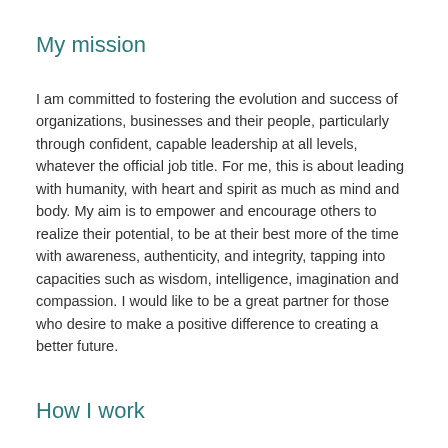My mission
I am committed to fostering the evolution and success of organizations, businesses and their people, particularly through confident, capable leadership at all levels, whatever the official job title. For me, this is about leading with humanity, with heart and spirit as much as mind and body. My aim is to empower and encourage others to realize their potential, to be at their best more of the time with awareness, authenticity, and integrity, tapping into capacities such as wisdom, intelligence, imagination and compassion. I would like to be a great partner for those who desire to make a positive difference to creating a better future.
How I work